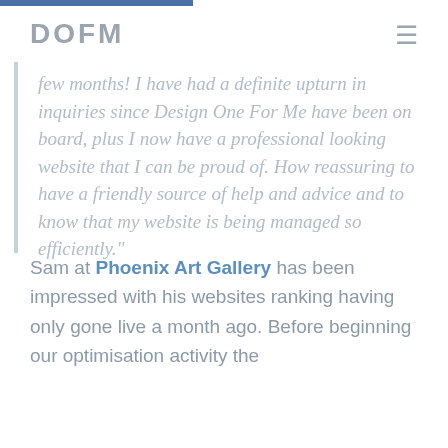DOFM
few months! I have had a definite upturn in inquiries since Design One For Me have been on board, plus I now have a professional looking website that I can be proud of. How reassuring to have a friendly source of help and advice and to know that my website is being managed so efficiently."
Sam at Phoenix Art Gallery has been impressed with his websites ranking having only gone live a month ago. Before beginning our optimisation activity the